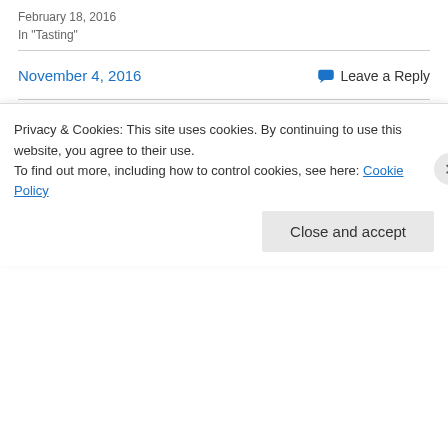February 18, 2016
In "Tasting"
November 4, 2016
Leave a Reply
« Previous
Next »
Leave a Reply
Your email address will not be published. Required fields
Privacy & Cookies: This site uses cookies. By continuing to use this website, you agree to their use.
To find out more, including how to control cookies, see here: Cookie Policy
Close and accept